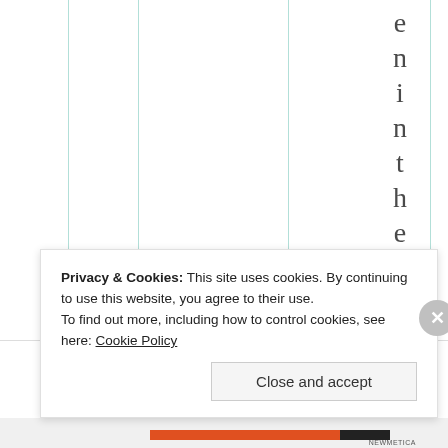[Figure (other): Partial view of a table or chart with vertical column lines and rotated vertical text reading 'eninthewee h' on the right side]
Privacy & Cookies: This site uses cookies. By continuing to use this website, you agree to their use.
To find out more, including how to control cookies, see here: Cookie Policy
Close and accept